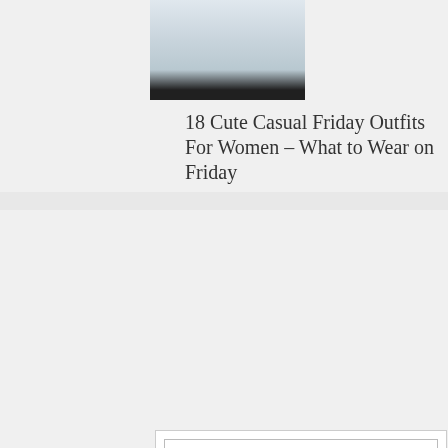[Figure (photo): Cropped photo of a woman's legs wearing black leggings and high heels, carrying a brown bag]
18 Cute Casual Friday Outfits For Women – What to Wear on Friday
[Figure (infographic): Trend Alert infographic: Awesome Ways To Style Yellow Skirts – three photos of women in yellow skirts, from www.outfittrends.com]
Yellow Skirt Outfits-30 Ideas on How to Wear Yellow Skirts